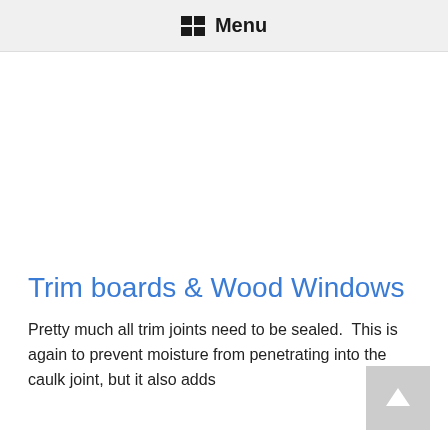Menu
Trim boards & Wood Windows
Pretty much all trim joints need to be sealed. This is again to prevent moisture from penetrating into the caulk joint, but it also adds